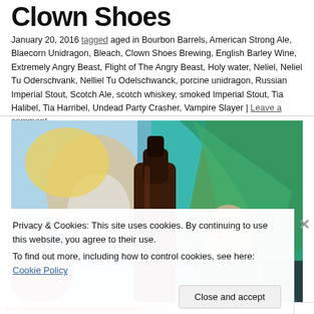Clown Shoes
January 20, 2016 tagged aged in Bourbon Barrels, American Strong Ale, Blaecorn Unidragon, Bleach, Clown Shoes Brewing, English Barley Wine, Extremely Angry Beast, Flight of The Angry Beast, Holy water, Neliel, Neliel Tu Oderschvank, Nelliel Tu Odelschwanck, porcine unidragon, Russian Imperial Stout, Scotch Ale, scotch whiskey, smoked Imperial Stout, Tia Halibel, Tia Harribel, Undead Party Crasher, Vampire Slayer | Leave a comment
[Figure (photo): A beer bottle in front of an anime-style mural featuring characters with green and blue hair, on a colorful illustrated background.]
Privacy & Cookies: This site uses cookies. By continuing to use this website, you agree to their use.
To find out more, including how to control cookies, see here: Cookie Policy